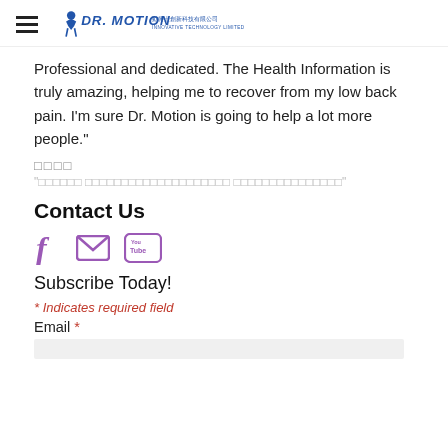DR. MOTION Innovative Technology Limited
Professional and dedicated. The Health Information is truly amazing, helping me to recover from my low back pain. I'm sure Dr. Motion is going to help a lot more people."
□□□□
"□□□□□□ □□□□□□□□□□□□□□□□□□□□ □□□□□□□□□□□□□□□"
Contact Us
[Figure (illustration): Social media icons: Facebook (f), Email (envelope), YouTube]
Subscribe Today!
* Indicates required field
Email *